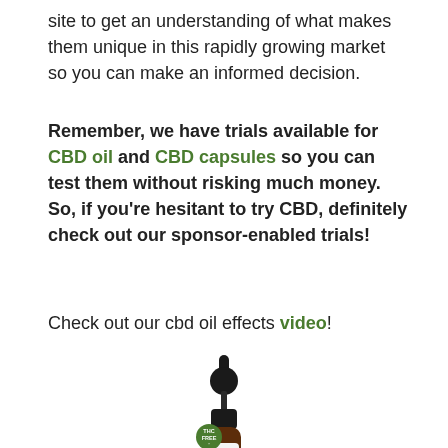site to get an understanding of what makes them unique in this rapidly growing market so you can make an informed decision.
Remember, we have trials available for CBD oil and CBD capsules so you can test them without risking much money. So, if you're hesitant to try CBD, definitely check out our sponsor-enabled trials!
Check out our cbd oil effects video!
[Figure (photo): A CBD oil dropper bottle with a dark amber glass body, black dropper cap, white label with a green hemp leaf logo, and a green circular 'THC FREE' badge on the front.]